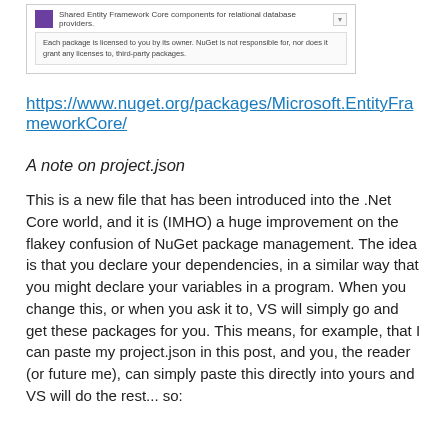[Figure (screenshot): NuGet package manager screenshot showing a package with description 'Shared Entity Framework Core components for relational database providers.' and a license notice: 'Each package is licensed to you by its owner. NuGet is not responsible for, nor does it grant any licenses to, third-party packages.']
https://www.nuget.org/packages/Microsoft.EntityFrameworkCore/
A note on project.json
This is a new file that has been introduced into the .Net Core world, and it is (IMHO) a huge improvement on the flakey confusion of NuGet package management. The idea is that you declare your dependencies, in a similar way that you might declare your variables in a program. When you change this, or when you ask it to, VS will simply go and get these packages for you. This means, for example, that I can paste my project.json in this post, and you, the reader (or future me), can simply paste this directly into yours and VS will do the rest... so: